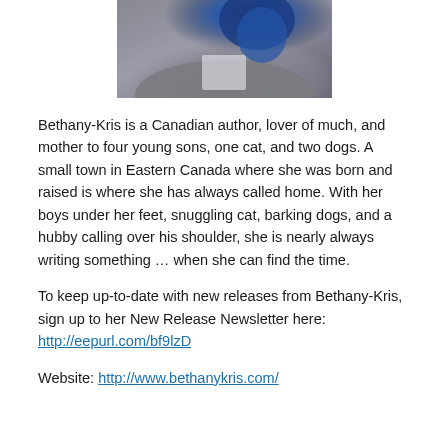[Figure (photo): Cropped photo of a person with blue hair wearing a grey hoodie with a printed design]
Bethany-Kris is a Canadian author, lover of much, and mother to four young sons, one cat, and two dogs. A small town in Eastern Canada where she was born and raised is where she has always called home. With her boys under her feet, snuggling cat, barking dogs, and a hubby calling over his shoulder, she is nearly always writing something … when she can find the time.
To keep up-to-date with new releases from Bethany-Kris, sign up to her New Release Newsletter here: http://eepurl.com/bf9lzD
Website: http://www.bethanykris.com/